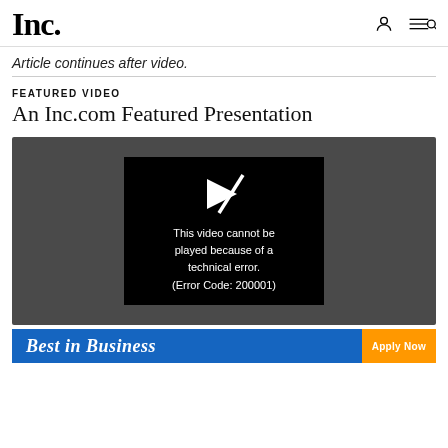Inc.
Article continues after video.
FEATURED VIDEO
An Inc.com Featured Presentation
[Figure (screenshot): Video player showing error: 'This video cannot be played because of a technical error. (Error Code: 200001)']
[Figure (infographic): Advertisement banner: 'Best in Business' with 'Apply Now' button]